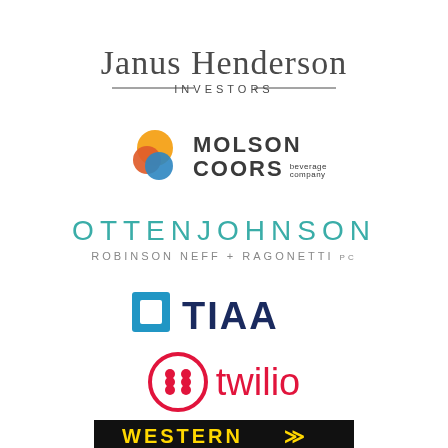[Figure (logo): Janus Henderson Investors logo — dark grey serif text 'Janus Henderson' large, 'INVESTORS' in small spaced caps below with horizontal rules on each side]
[Figure (logo): Molson Coors Beverage Company logo — circular overlapping orange, red and blue icon to the left of text 'MOLSON COORS beverage company']
[Figure (logo): Otten Johnson Robinson Neff + Ragonetti PC logo — teal spaced caps 'OTTENJOHNSON' large, smaller grey 'ROBINSON NEFF + RAGONETTI PC' below]
[Figure (logo): TIAA logo — blue square bracket icon followed by bold dark navy 'TIAA' text in large sans-serif]
[Figure (logo): Twilio logo — red circle with six red dots arranged in a grid pattern, followed by red lowercase 'twilio' text]
[Figure (logo): Western Union logo — black background banner with yellow 'WESTERN' text and stylized double-bar WU mark (partially visible at bottom)]